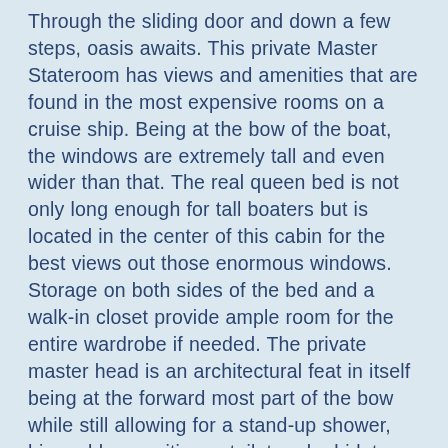Through the sliding door and down a few steps, oasis awaits. This private Master Stateroom has views and amenities that are found in the most expensive rooms on a cruise ship. Being at the bow of the boat, the windows are extremely tall and even wider than that. The real queen bed is not only long enough for tall boaters but is located in the center of this cabin for the best views out those enormous windows. Storage on both sides of the bed and a walk-in closet provide ample room for the entire wardrobe if needed. The private master head is an architectural feat in itself being at the forward most part of the bow while still allowing for a stand-up shower, his and her vanities, a toilet and a bidet.
There won't be a complaint from the guests who get to enjoy the VIP suite. This mid ship cabin has near as much real-estate as the Master cabin with the head broken into three sections on the port side. The closet still has a lot of room for a wardrobe on the aft side...